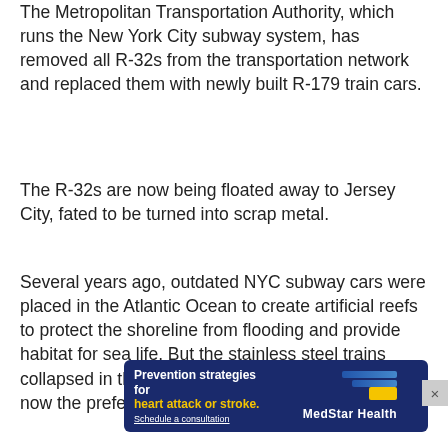The Metropolitan Transportation Authority, which runs the New York City subway system, has removed all R-32s from the transportation network and replaced them with newly built R-179 train cars.
The R-32s are now being floated away to Jersey City, fated to be turned into scrap metal.
Several years ago, outdated NYC subway cars were placed in the Atlantic Ocean to create artificial reefs to protect the shoreline from flooding and provide habitat for sea life. But the stainless steel trains collapsed in the salt water, so scrapping the metal is now the preferred way to dis...
[Figure (other): Advertisement banner for MedStar Health: 'Prevention strategies for heart attack or stroke. Schedule a consultation' with MedStar Health logo showing blue and yellow bars.]